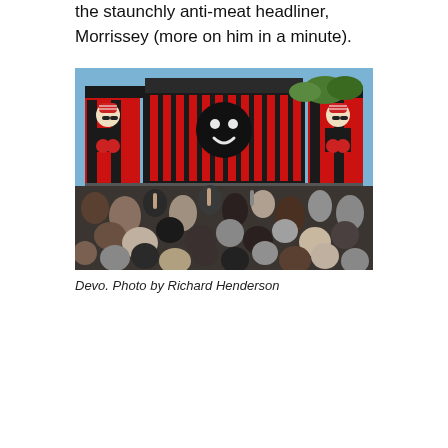the staunchly anti-meat headliner, Morrissey (more on him in a minute).
[Figure (photo): Concert photo showing a large outdoor stage with LED screens displaying a performer wearing a red striped beanie and a smiley face graphic. A crowd of people is visible in the foreground with their backs to the camera. The stage has a large black scaffolding structure with red and black video panels on the sides.]
Devo. Photo by Richard Henderson